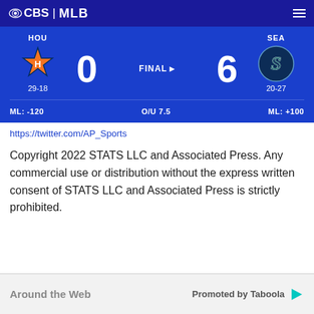CBS | MLB
HOU 0 FINAL 6 SEA | 29-18 | 20-27 | ML: -120 | O/U 7.5 | ML: +100
https://twitter.com/AP_Sports
Copyright 2022 STATS LLC and Associated Press. Any commercial use or distribution without the express written consent of STATS LLC and Associated Press is strictly prohibited.
Around the Web  Promoted by Taboola